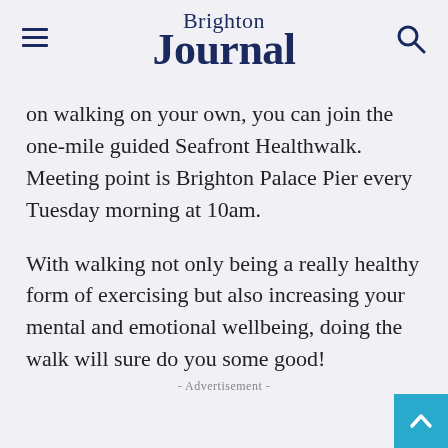Brighton Journal
on walking on your own, you can join the one-mile guided Seafront Healthwalk. Meeting point is Brighton Palace Pier every Tuesday morning at 10am.
With walking not only being a really healthy form of exercising but also increasing your mental and emotional wellbeing, doing the walk will sure do you some good!
- Advertisement -